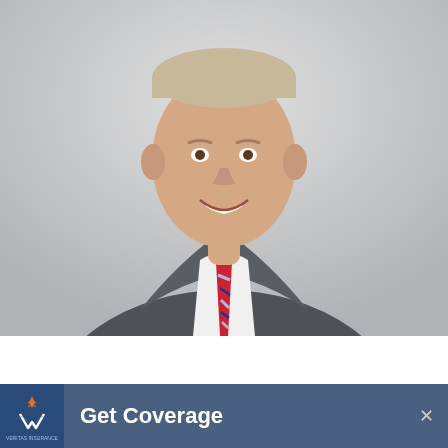[Figure (photo): Professional headshot of a middle-aged man in a gray suit and striped red/blue/white tie, smiling, against a light gray background]
Get Coverage